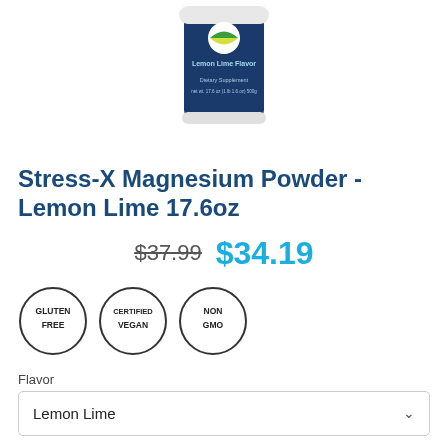[Figure (photo): Product image of Stress-X Magnesium Powder container showing Lemon Lime Flavor label, Dietary Supplement, net wt. 17.6 oz (1 lb 1.6 oz) 500g]
Stress-X Magnesium Powder - Lemon Lime 17.6oz
$37.99 $34.19
[Figure (logo): Three certification badges: GLUTEN FREE, CERTIFIED VEGAN, NON GMO]
Flavor
Lemon Lime
Size
100 servings-17.6oz